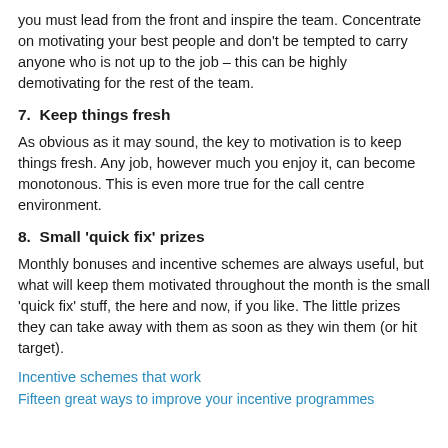you must lead from the front and inspire the team. Concentrate on motivating your best people and don't be tempted to carry anyone who is not up to the job – this can be highly demotivating for the rest of the team.
7.  Keep things fresh
As obvious as it may sound, the key to motivation is to keep things fresh. Any job, however much you enjoy it, can become monotonous. This is even more true for the call centre environment.
8.  Small 'quick fix' prizes
Monthly bonuses and incentive schemes are always useful, but what will keep them motivated throughout the month is the small 'quick fix' stuff, the here and now, if you like. The little prizes they can take away with them as soon as they win them (or hit target).
Incentive schemes that work
Fifteen great ways to improve your incentive programmes